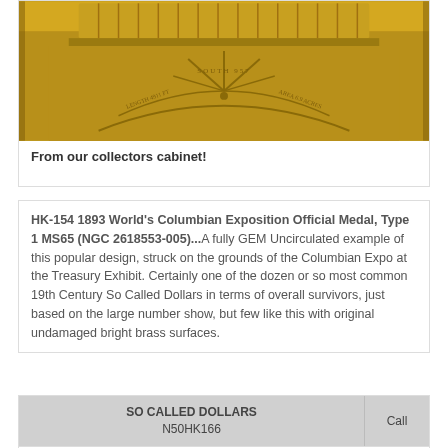[Figure (photo): Close-up photo of a gold coin — the 1893 World's Columbian Exposition Official Medal, showing text and decorative imagery on its face, including tower/building imagery and circular lettering.]
From our collectors cabinet!
HK-154 1893 World's Columbian Exposition Official Medal, Type 1 MS65 (NGC 2618553-005)...A fully GEM Uncirculated example of this popular design, struck on the grounds of the Columbian Expo at the Treasury Exhibit. Certainly one of the dozen or so most common 19th Century So Called Dollars in terms of overall survivors, just based on the large number show, but few like this with original undamaged bright brass surfaces.
| SO CALLED DOLLARS
N50HK166 | Call |
| --- | --- |
| front | reverse |
front
reverse